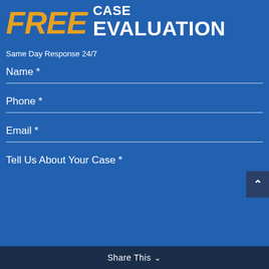FREE CASE EVALUATION
Same Day Response 24/7
Name *
Phone *
Email *
Tell Us About Your Case *
Share This ∨ ×